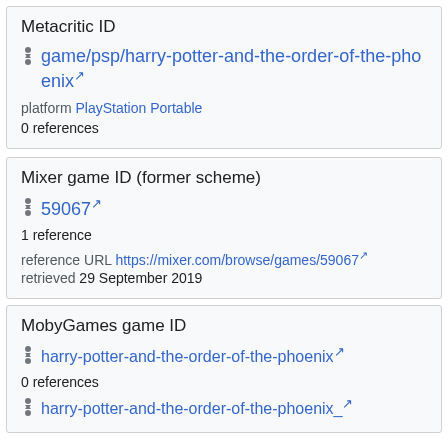Metacritic ID
game/psp/harry-potter-and-the-order-of-the-phoenix [external link]
platform PlayStation Portable
0 references
Mixer game ID (former scheme)
59067 [external link]
1 reference
reference URL https://mixer.com/browse/games/59067 [external link]
retrieved 29 September 2019
MobyGames game ID
harry-potter-and-the-order-of-the-phoenix [external link]
0 references
harry-potter-and-the-order-of-the-phoenix_ [external link]